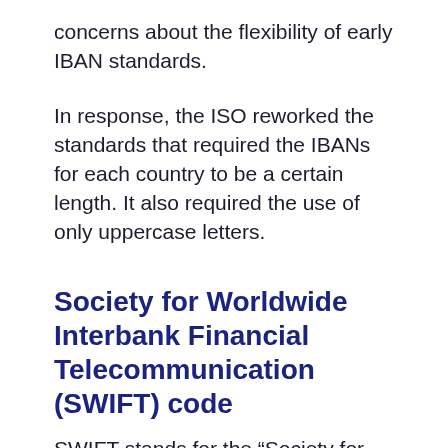concerns about the flexibility of early IBAN standards.
In response, the ISO reworked the standards that required the IBANs for each country to be a certain length. It also required the use of only uppercase letters.
Society for Worldwide Interbank Financial Telecommunication (SWIFT) code
SWIFT stands for the “Society for